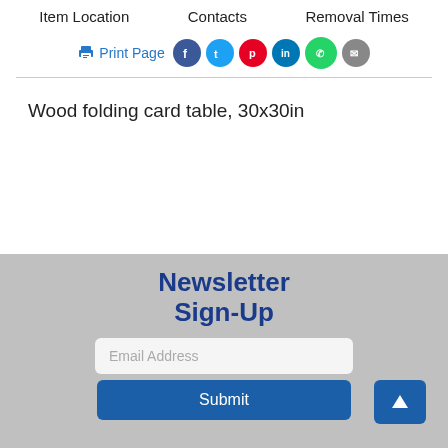Item Location    Contacts    Removal Times
Print Page
Wood folding card table, 30x30in
Newsletter Sign-Up
Email Address
Submit